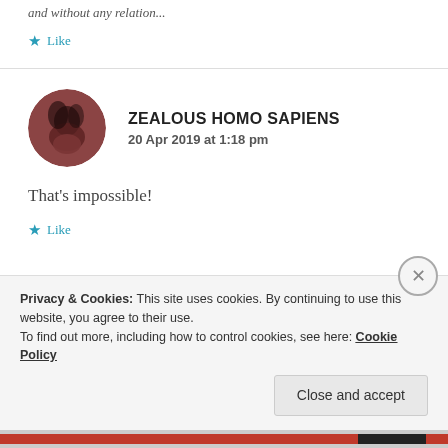and without any relation...
★ Like
ZEALOUS HOMO SAPIENS
20 Apr 2019 at 1:18 pm
That's impossible!
★ Like
Privacy & Cookies: This site uses cookies. By continuing to use this website, you agree to their use. To find out more, including how to control cookies, see here: Cookie Policy
Close and accept